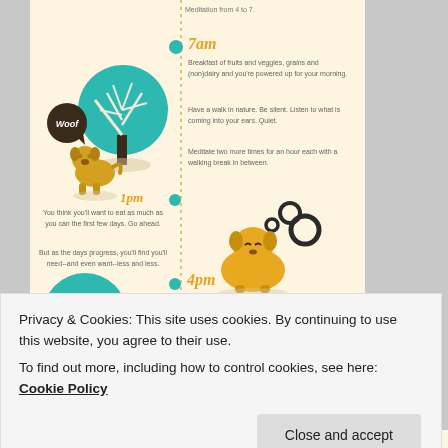[Figure (infographic): A daily routine infographic with a tan/cream background. Features a vertical dotted timeline. Left side shows illustrations: a pug dog with a 'Woof' speech bubble beside a tree (teal circle), and a blue circular illustration at bottom. Right side shows time markers at 7am and 4pm with activity descriptions. Center-left shows 1pm time label with text about eating. A small golden cartoon dog is illustrated on the right at 1pm section. Dark ring shapes float near the dog.]
Meditation from 4 to 7.
7am
Breakfast of fruits and veggies, grains and (non)dairy and you're powered up for your morning.
Have a walk in nature. Be silent. Listen to what is coming into your ears. Quiet.
Meditate two more times for an hour each with a walking break in between.
1pm
You think you'll want to eat as much as you can the first few days. Go ahead.
But as the days progress, you'll find you'll need--and even want--less and less.
4pm
They called it dinner. I called it an
Privacy & Cookies: This site uses cookies. By continuing to use this website, you agree to their use.
To find out more, including how to control cookies, see here: Cookie Policy
Close and accept